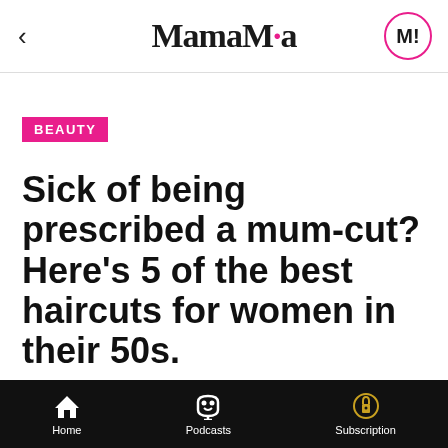MamaMia
BEAUTY
Sick of being prescribed a mum-cut? Here's 5 of the best haircuts for women in their 50s.
ERIN DOCHERTY
Senior Health & Beauty Writer
DECEMBER 1, 2020
Home  Podcasts  Subscription